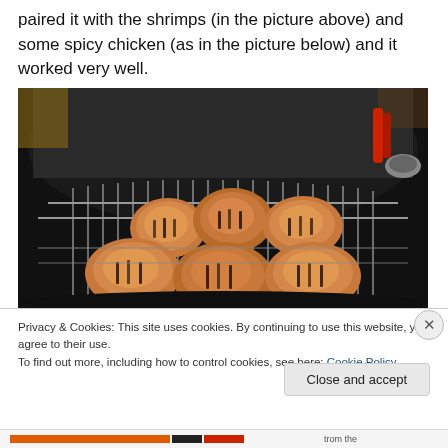paired it with the shrimps (in the picture above) and some spicy chicken (as in the picture below) and it worked very well.
[Figure (photo): Grilled chicken pieces on a round black charcoal grill with metal grates, showing charred grill marks. Several pieces of spicy chicken are arranged on the grill.]
Privacy & Cookies: This site uses cookies. By continuing to use this website, you agree to their use.
To find out more, including how to control cookies, see here: Cookie Policy